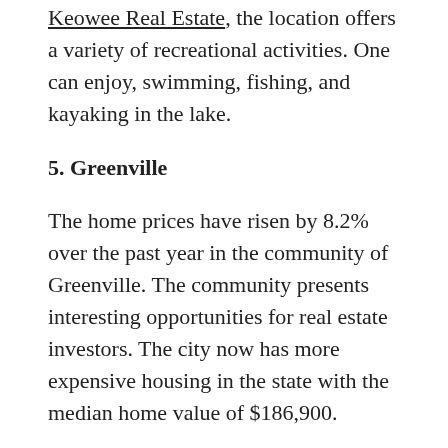Keowee Real Estate, the location offers a variety of recreational activities. One can enjoy, swimming, fishing, and kayaking in the lake.
5. Greenville
The home prices have risen by 8.2% over the past year in the community of Greenville. The community presents interesting opportunities for real estate investors. The city now has more expensive housing in the state with the median home value of $186,900.
6. Sumter
Not everyone desires to own a lavish home. For the ones looking at more affordable options, the smaller community of Sumter offers some of the least expensive opportunities. The median value is